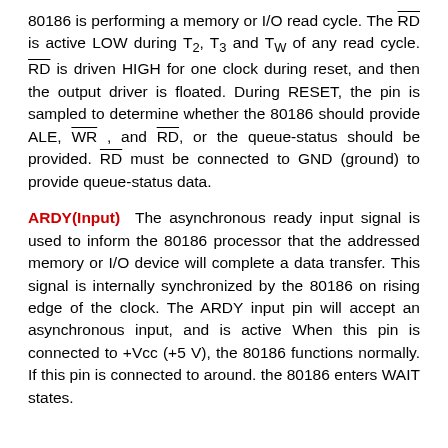80186 is performing a memory or I/O read cycle. The RD is active LOW during T2, T3 and TW of any read cycle. RD is driven HIGH for one clock during reset, and then the output driver is floated. During RESET, the pin is sampled to determine whether the 80186 should provide ALE, WR, and RD, or the queue-status should be provided. RD must be connected to GND (ground) to provide queue-status data.
ARDY(Input) The asynchronous ready input signal is used to inform the 80186 processor that the addressed memory or I/O device will complete a data transfer. This signal is internally synchronized by the 80186 on rising edge of the clock. The ARDY input pin will accept an asynchronous input, and is active When this pin is connected to +Vcc (+5 V), the 80186 functions normally. If this pin is connected to around. the 80186 enters WAIT states.